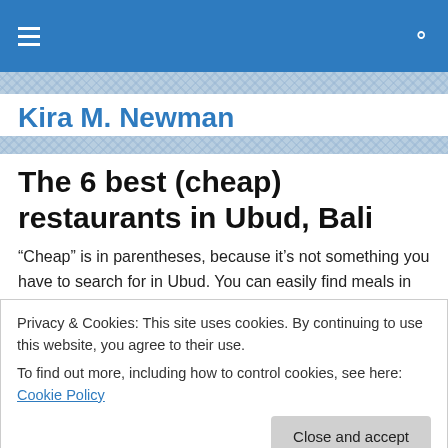Kira M. Newman
The 6 best (cheap) restaurants in Ubud, Bali
“Cheap” is in parentheses, because it’s not something you have to search for in Ubud. You can easily find meals in
Privacy & Cookies: This site uses cookies. By continuing to use this website, you agree to their use.
To find out more, including how to control cookies, see here: Cookie Policy
Close and accept
We spent about a month in Ubud at a hotel – that means,